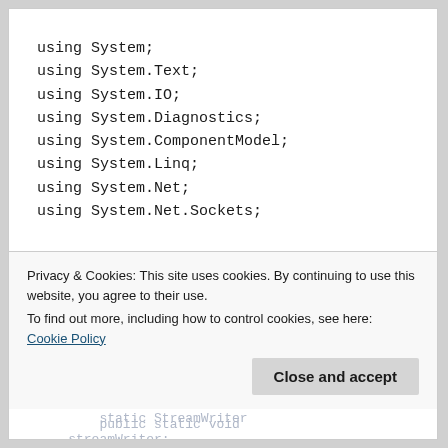using System;
using System.Text;
using System.IO;
using System.Diagnostics;
using System.ComponentModel;
using System.Linq;
using System.Net;
using System.Net.Sockets;

namespace ConnectBack
{
    public class Program
    {
        static StreamWriter
        streamWriter;

        public static void
Privacy & Cookies: This site uses cookies. By continuing to use this website, you agree to their use. To find out more, including how to control cookies, see here: Cookie Policy